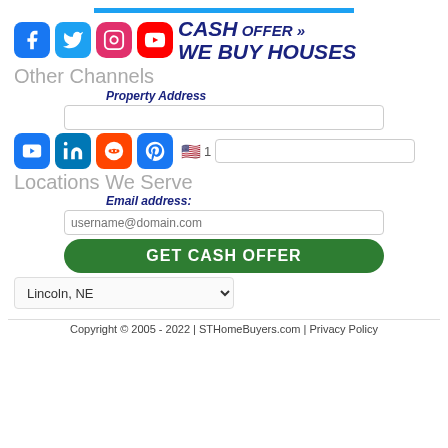[Figure (logo): Social media icons row: Facebook, Twitter, Instagram, YouTube followed by brand text CASH OFFER >> WE BUY HOUSES in bold italic dark blue]
Other Channels
Property Address
[Figure (infographic): Second row of social icons: YouTube, LinkedIn, Reddit, Pinterest with phone flag and number 1]
Email address:
Locations We Serve
GET CASH OFFER
Lincoln, NE
Copyright © 2005 - 2022 | STHomeBuyers.com | Privacy Policy